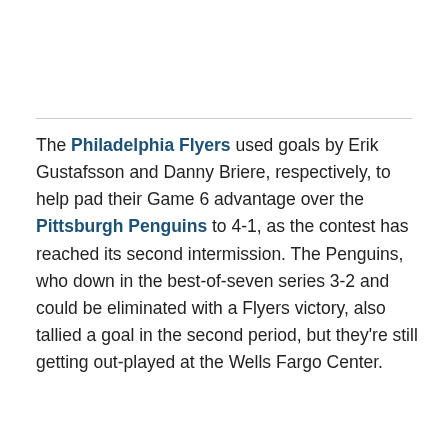The Philadelphia Flyers used goals by Erik Gustafsson and Danny Briere, respectively, to help pad their Game 6 advantage over the Pittsburgh Penguins to 4-1, as the contest has reached its second intermission. The Penguins, who down in the best-of-seven series 3-2 and could be eliminated with a Flyers victory, also tallied a goal in the second period, but they're still getting out-played at the Wells Fargo Center.